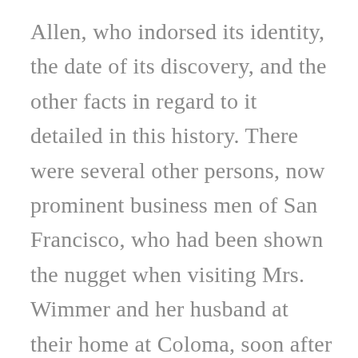Allen, who indorsed its identity, the date of its discovery, and the other facts in regard to it detailed in this history. There were several other persons, now prominent business men of San Francisco, who had been shown the nugget when visiting Mrs. Wimmer and her husband at their home at Coloma, soon after the discovery was made, and while a wonderful interest attached to the " first find." Its peculiarities are indellibly impressed upon their minds. The identity of the famous lump of gold is therefore easily established without the aid of the following depositions: